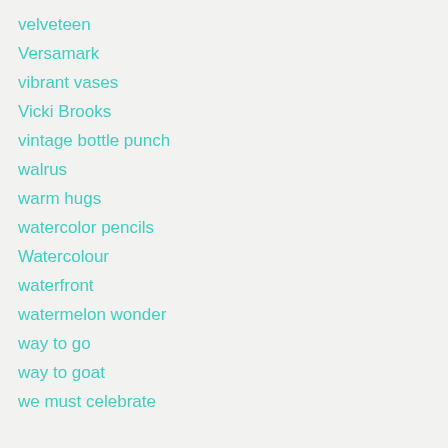velveteen
Versamark
vibrant vases
Vicki Brooks
vintage bottle punch
walrus
warm hugs
watercolor pencils
Watercolour
waterfront
watermelon wonder
way to go
way to goat
we must celebrate